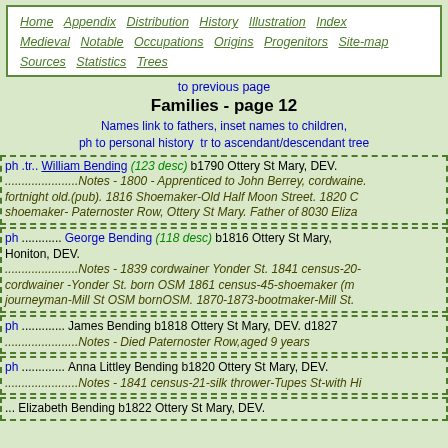Home Appendix Distribution History Illustration Index Medieval Notable Occupations Origins Progenitors Site-map Sources Statistics Trees
to previous page
Families - page 12
Names link to fathers, inset names to children, ph to personal history  tr to ascendant/descendant tree
ph .tr.. William Bending (123 desc) b1790 Ottery St Mary, DEV. ...Notes - 1800 - Apprenticed to John Berrey, cordwainer, fortnight old.(pub). 1816 Shoemaker-Old Half Moon Street. 1820 shoemaker- Paternoster Row, Ottery St Mary. Father of 8030 Eliza
ph ........... George Bending (118 desc) b1816 Ottery St Mary, Honiton, DEV. ...Notes - 1839 cordwainer Yonder St. 1841 census-20-cordwainer -Yonder St. born OSM 1861 census-45-shoemaker (m journeyman-Mill St OSM bornOSM. 1870-1873-bootmaker-Mill St.
ph ........... James Bending b1818 Ottery St Mary, DEV. d1827 ...Notes - Died Paternoster Row,aged 9 years
ph ........... Anna Littley Bending b1820 Ottery St Mary, DEV. ...Notes - 1841 census-21-silk thrower-Tupes St-with Hi
... Elizabeth Bending b1822 Ottery St Mary, DEV.